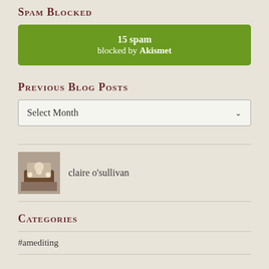SPAM BLOCKED
[Figure (infographic): Green rounded banner showing '15 spam blocked by Akismet']
PREVIOUS BLOG POSTS
[Figure (screenshot): Dropdown select element with 'Select Month' placeholder and chevron arrow]
[Figure (photo): Small profile/thumbnail image of Claire O'Sullivan]
claire o'sullivan
CATEGORIES
#amediting